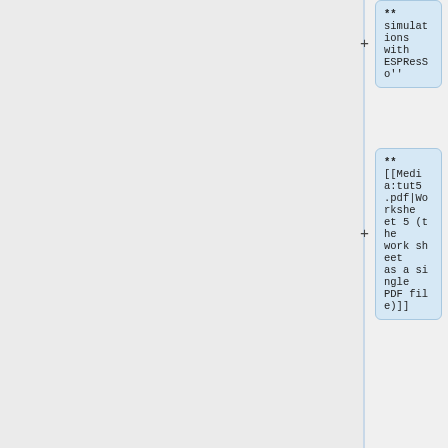** Simulations with ESPResSo''
** [[Media:tut5.pdf|Worksheet 5 (the work sheet as a single PDF file)]]
** [http://espr essomd.org/ ESPResSo-Homepage]
** [http://espr essomd.org/w ordpress/dow nload/